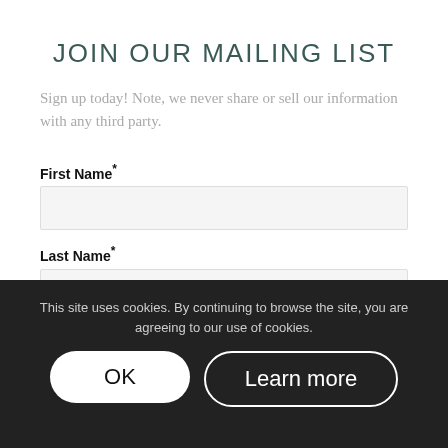JOIN OUR MAILING LIST
Sign up today! Note, we never share or sell our information with any third party.
First Name*
Last Name*
Email*
Subscribe
This site uses cookies. By continuing to browse the site, you are agreeing to our use of cookies.
OK
Learn more